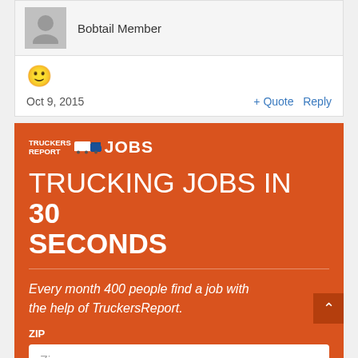Bobtail Member
[Figure (illustration): Emoji smiley face icon, yellow circle with smile]
Oct 9, 2015
+ Quote   Reply
[Figure (infographic): TruckersReport Jobs advertisement banner. Orange background with logo, headline 'TRUCKING JOBS IN 30 SECONDS', italic text 'Every month 400 people find a job with the help of TruckersReport.', ZIP label and Zip input field.]